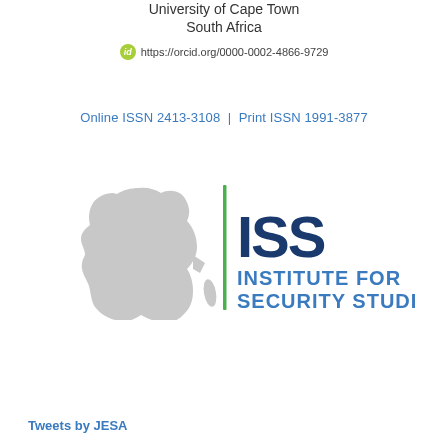University of Cape Town
South Africa
https://orcid.org/0000-0002-4866-9729
Online ISSN 2413-3108 | Print ISSN 1991-3877
[Figure (logo): ISS Institute for Security Studies logo with grey Africa continent silhouette, green vertical bar, dark blue ISS text and blue INSTITUTE FOR SECURITY STUDIES text]
Tweets by JESA